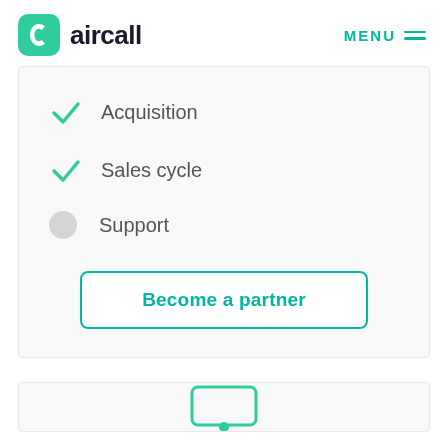aircall  MENU
✓ Acquisition
✓ Sales cycle
○ Support
Become a partner
[Figure (illustration): Partial view of an icon at the bottom of the page, teal colored, partially visible]